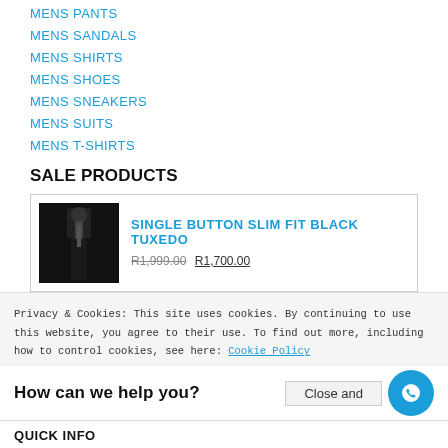MENS PANTS
MENS SANDALS
MENS SHIRTS
MENS SHOES
MENS SNEAKERS
MENS SUITS
MENS T-SHIRTS
SALE PRODUCTS
SINGLE BUTTON SLIM FIT BLACK TUXEDO R1,999.00 R1,700.00
Crockett & Jones Ankle Zip-up Boot Black R1,800.00 R1,600.00
Privacy & Cookies: This site uses cookies. By continuing to use this website, you agree to their use. To find out more, including how to control cookies, see here: Cookie Policy
How can we help you?
Close and
QUICK INFO